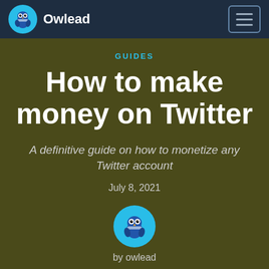Owlead
GUIDES
How to make money on Twitter
A definitive guide on how to monetize any Twitter account
July 8, 2021
by owlead